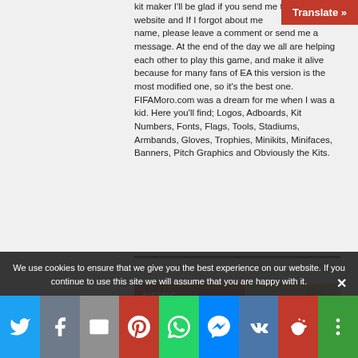kit maker I'll be glad if you send me to put on my website and If I forgot about mentioning your name, please leave a comment or send me a message. At the end of the day we all are helping each other to play this game, and make it alive because for many fans of EA this version is the most modified one, so it's the best one. FIFAMoro.com was a dream for me when I was a kid. Here you'll find; Logos, Adboards, Kit Numbers, Fonts, Flags, Tools, Stadiums, Armbands, Gloves, Trophies, Minikits, Minifaces, Banners, Pitch Graphics and Obviously the Kits.
[Figure (screenshot): NEWS banner with red background and photo of a person]
We use cookies to ensure that we give you the best experience on our website. If you continue to use this site we will assume that you are happy with it.
[Figure (infographic): Social sharing bar with Twitter, Facebook, Email, Pinterest, WhatsApp, Messenger, VK, Reddit, More buttons]